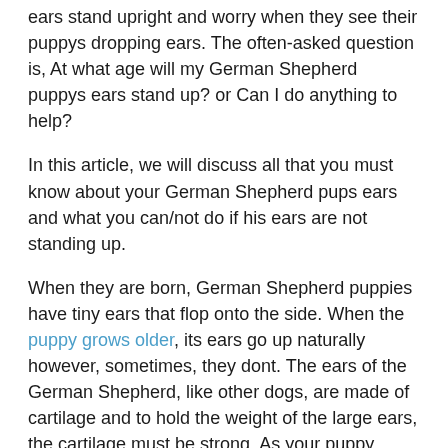ears stand upright and worry when they see their puppys dropping ears. The often-asked question is, At what age will my German Shepherd puppys ears stand up? or Can I do anything to help?
In this article, we will discuss all that you must know about your German Shepherd pups ears and what you can/not do if his ears are not standing up.
When they are born, German Shepherd puppies have tiny ears that flop onto the side. When the puppy grows older, its ears go up naturally however, sometimes, they dont. The ears of the German Shepherd, like other dogs, are made of cartilage and to hold the weight of the large ears, the cartilage must be strong. As your puppy grows, the cartilage becomes stronger with the right nutrition and your German Shepherd will have straight, pointy ears for life.